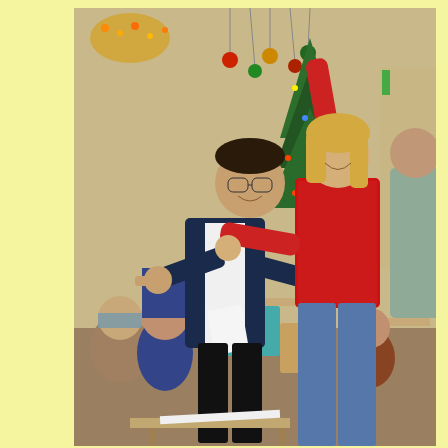[Figure (photo): Indoor Christmas party scene. A man wearing glasses, a dark navy vest over a white shirt, holding papers, is dancing or gesturing energetically pointing fingers. Next to him, a woman in a bright red sequined long-sleeve top and jeans has her right arm raised high in celebration. In the background, several people are seated at tables in a community hall decorated with Christmas lights, ornaments hanging from the ceiling, and a decorated Christmas tree. Chairs are teal/blue and wooden. The setting appears festive and joyful.]